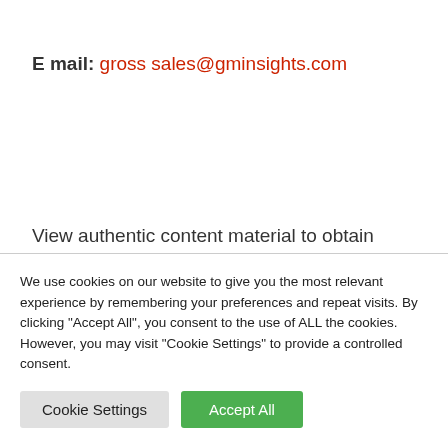E mail: gross sales@gminsights.com
View authentic content material to obtain multimedia:https://www.prnewswire.com/news-releases/healthcare-cybersecurity-market-revenue-to-
We use cookies on our website to give you the most relevant experience by remembering your preferences and repeat visits. By clicking "Accept All", you consent to the use of ALL the cookies. However, you may visit "Cookie Settings" to provide a controlled consent.